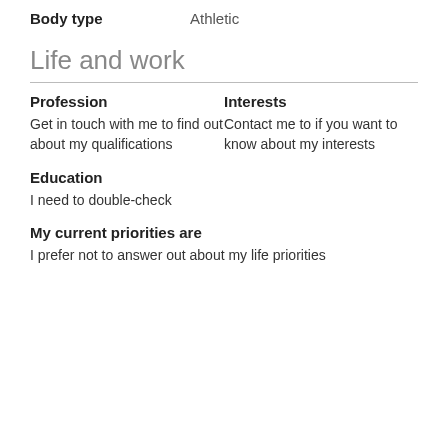Body type	Athletic
Life and work
Profession
Get in touch with me to find out about my qualifications
Interests
Contact me to if you want to know about my interests
Education
I need to double-check
My current priorities are
I prefer not to answer out about my life priorities